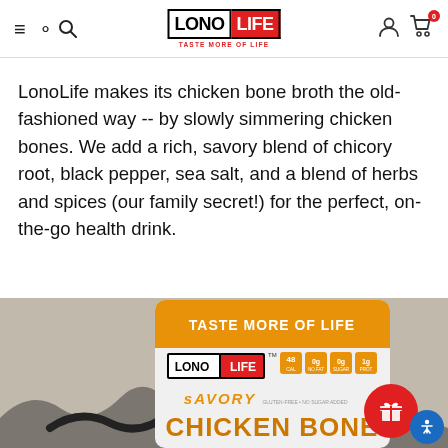[Figure (screenshot): LonoLife website header with hamburger menu, search icon, LonoLife logo with 'TASTE MORE OF LIFE' tagline, user account icon, and cart icon with badge showing 0]
LonoLife makes its chicken bone broth the old-fashioned way -- by slowly simmering chicken bones. We add a rich, savory blend of chicory root, black pepper, sea salt, and a blend of herbs and spices (our family secret!) for the perfect, on-the-go health drink.
[Figure (photo): LonoLife Savory Chicken Bone product package on a neutral background. Package shows 'TASTE MORE OF LIFE' in bold white text on orange banner, LonoLife logo, nutritional icons (48 calories, etc.), and 'SAVORY CHICKEN BONE' text in large stylized font. A red gift button and blue accessibility button are overlaid in the bottom right.]